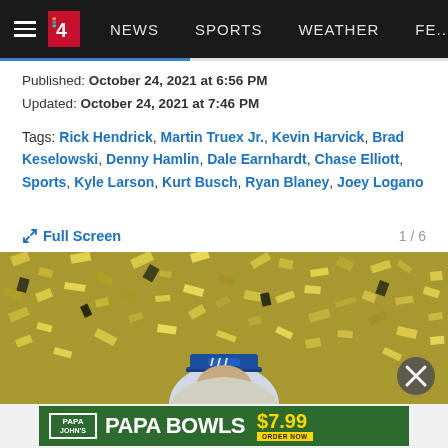≡ 4 NEWS SPORTS WEATHER FE...
Published: October 24, 2021 at 6:56 PM
Updated: October 24, 2021 at 7:46 PM
Tags: Rick Hendrick, Martin Truex Jr., Kevin Harvick, Brad Keselowski, Denny Hamlin, Dale Earnhardt, Chase Elliott, Sports, Kyle Larson, Kurt Busch, Ryan Blaney, Joey Logano
Full Screen  1 / 6
[Figure (photo): Person wearing blue hat surrounded by falling gold confetti at a NASCAR celebration event]
[Figure (other): Papa John's advertisement: PAPA BOWLS $7.99 ORDER NOW]